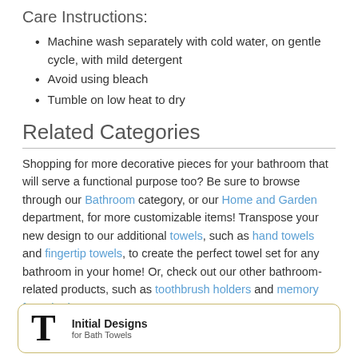Care Instructions:
Machine wash separately with cold water, on gentle cycle, with mild detergent
Avoid using bleach
Tumble on low heat to dry
Related Categories
Shopping for more decorative pieces for your bathroom that will serve a functional purpose too? Be sure to browse through our Bathroom category, or our Home and Garden department, for more customizable items! Transpose your new design to our additional towels, such as hand towels and fingertip towels, to create the perfect towel set for any bathroom in your home! Or, check out our other bathroom-related products, such as toothbrush holders and memory foam bath mats!
[Figure (logo): Promotional box with large T letter and text 'Initial Designs for Bath Towels']